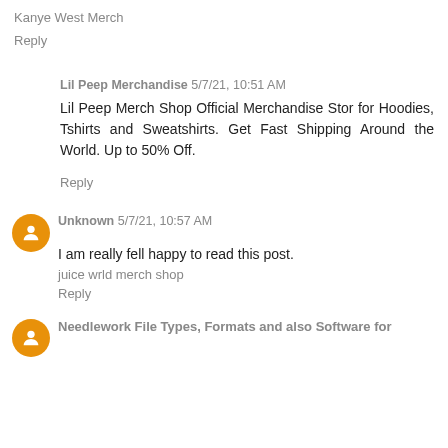Kanye West Merch
Reply
Lil Peep Merchandise 5/7/21, 10:51 AM
Lil Peep Merch Shop Official Merchandise Stor for Hoodies, Tshirts and Sweatshirts. Get Fast Shipping Around the World. Up to 50% Off.
Reply
Unknown 5/7/21, 10:57 AM
I am really fell happy to read this post.
juice wrld merch shop
Reply
Needlework File Types, Formats and also Software for